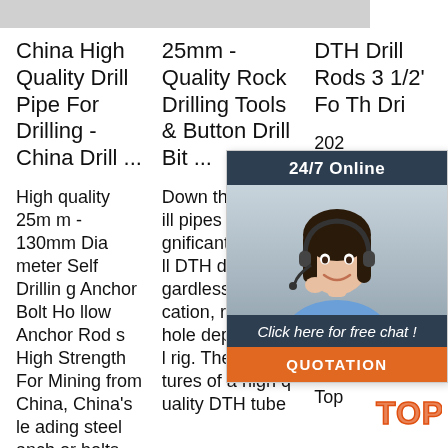[Figure (screenshot): Gray top bar/banner image strip at top of page]
China High Quality Drill Pipe For Drilling - China Drill ...
25mm - Quality Rock Drilling Tools & Button Drill Bit ...
DTH Drill Rods 3 1/2' For The... Dri...
High quality 25mm - 130mm Diameter Self Drilling Anchor Bolt Hollow Anchor Rods High Strength For Mining from China, China's leading steel anchor bolts product,
Down the hole drill pipes play a significant role in all DTH drilling, regardless of application, rock type, hole depth or drill rig. The key features of a high quality DTH tube
2020... e P... T38... ter ... igh... Rod for Top Hammer ... Rock Drilling Hammer Bit Rod, Jackhammer Rock Drill, Top
[Figure (infographic): 24/7 Online chat popup widget with dark blue header, woman with headset photo, 'Click here for free chat!' text, and orange QUOTATION button]